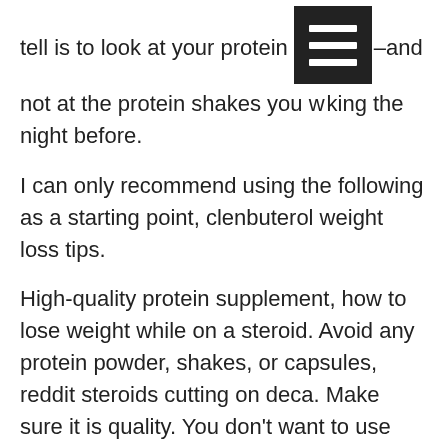tell is to look at your protein [icon] –and not at the protein shakes you w[ere drin]king the night before.
I can only recommend using the following as a starting point, clenbuterol weight loss tips.
High-quality protein supplement, how to lose weight while on a steroid. Avoid any protein powder, shakes, or capsules, reddit steroids cutting on deca. Make sure it is quality. You don't want to use any of the commercial stuff, unless you already have an established eating plan. Make sure to get two types: whey and casein, average weight loss clenbuterol cycle. If you buy bulk whey, buy organic, clenbuterol cytomel t3 weight loss stack. You can find them online for very cheap (in the $5+ range). Whey is good because it is easy to digest, yet very complete protein, best sarms for fat loss and muscle gain reddit. Casein is high in...